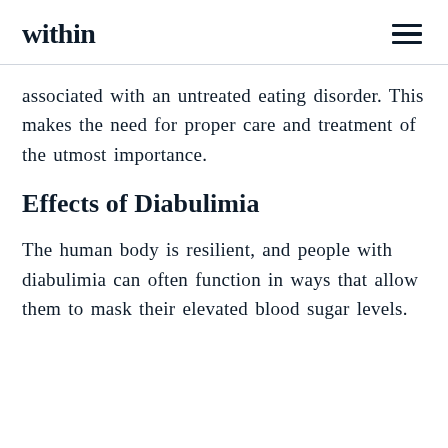within
associated with an untreated eating disorder. This makes the need for proper care and treatment of the utmost importance.
Effects of Diabulimia
The human body is resilient, and people with diabulimia can often function in ways that allow them to mask their elevated blood sugar levels.